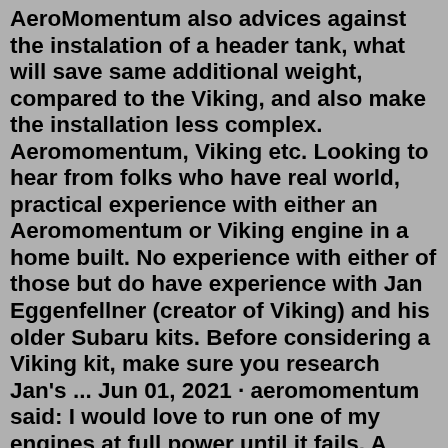AeroMomentum also advices against the instalation of a header tank, what will save same additional weight, compared to the Viking, and also make the installation less complex. Aeromomentum, Viking etc. Looking to hear from folks who have real world, practical experience with either an Aeromomentum or Viking engine in a home built. No experience with either of those but do have experience with Jan Eggenfellner (creator of Viking) and his older Subaru kits. Before considering a Viking kit, make sure you research Jan's ... Jun 01, 2021 · aeromomentum said: I would love to run one of my engines at full power until it fails. A customer (airboat) went 4000 hours. Admittedly, it was not always full power. But also it had very limited maintenance. So 4000 hours at full power with regular oil changes should be possible. Assuming 6gph (on our 100hp at full power) and $3/gal the fuel ... Sep 26, 2018 · We also thought about other engines, after Lycoming and Conti (too heavy) and Rotax 912 (too weak), the AeroMomentum came out on top. * Flying Mooney M20E * RV-10 kit on